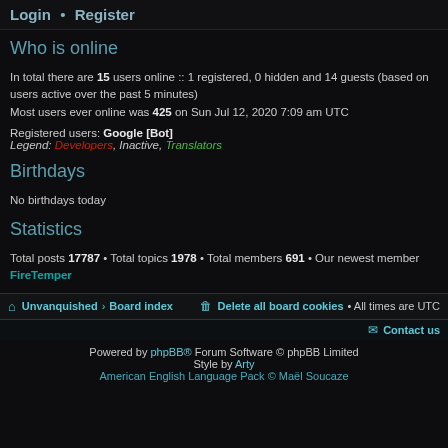Login • Register
Who is online
In total there are 15 users online :: 1 registered, 0 hidden and 14 guests (based on users active over the past 5 minutes)
Most users ever online was 425 on Sun Jul 12, 2020 7:09 am UTC
Registered users: Google [Bot]
Legend: Developers, Inactive, Translators
Birthdays
No birthdays today
Statistics
Total posts 17787 • Total topics 1978 • Total members 691 • Our newest member FireTemper
Unvanquished > Board index   Delete all board cookies • All times are UTC   Contact us
Powered by phpBB® Forum Software © phpBB Limited
Style by Arty
American English Language Pack © Maël Soucaze